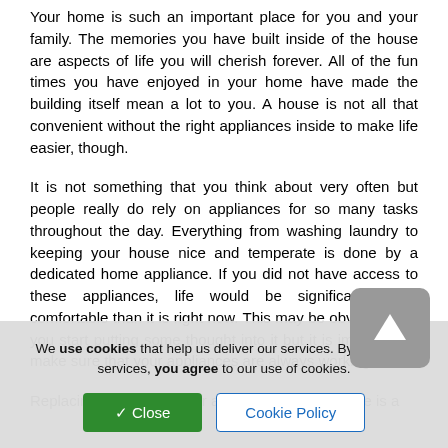Your home is such an important place for you and your family. The memories you have built inside of the house are aspects of life you will cherish forever. All of the fun times you have enjoyed in your home have made the building itself mean a lot to you. A house is not all that convenient without the right appliances inside to make life easier, though.
It is not something that you think about very often but people really do rely on appliances for so many tasks throughout the day. Everything from washing laundry to keeping your house nice and temperate is done by a dedicated home appliance. If you did not have access to these appliances, life would be significantly less comfortable than it is right now. This may be obvious once you start putting some thought into it but it is important to make sure that your appliances are always working well.
Replacing appliances after a certain amount of time is a
We use cookies that help us deliver our services. By using our services, you agree to our use of cookies.